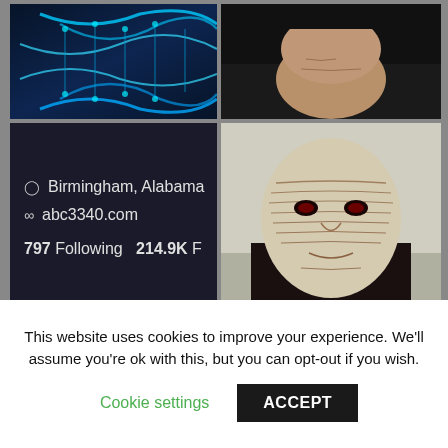[Figure (photo): Collage of images: top-left shows a DNA double helix in blue tones, top-right shows a close-up of an elderly person's face from above, middle-left shows a social media profile panel with location Birmingham Alabama, website abc3340.com, 797 Following and 214.9K followers, middle-right shows a person made up to look like Emperor Palpatine from Star Wars with heavily wrinkled pale skin and dark red eyes, bottom shows a red lightsaber scene.]
This website uses cookies to improve your experience. We'll assume you're ok with this, but you can opt-out if you wish.
Cookie settings
ACCEPT